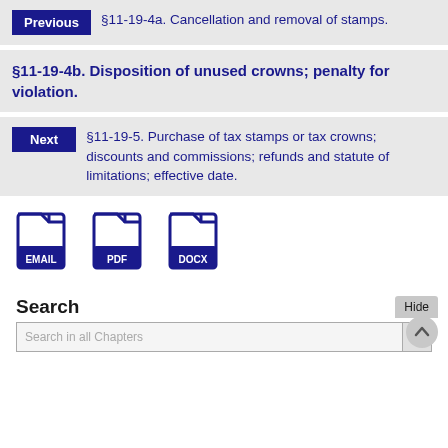Previous §11-19-4a. Cancellation and removal of stamps.
§11-19-4b. Disposition of unused crowns; penalty for violation.
Next §11-19-5. Purchase of tax stamps or tax crowns; discounts and commissions; refunds and statute of limitations; effective date.
[Figure (illustration): Three file format icons: EMAIL, PDF, DOCX]
Search
Hide
Search in all Chapters